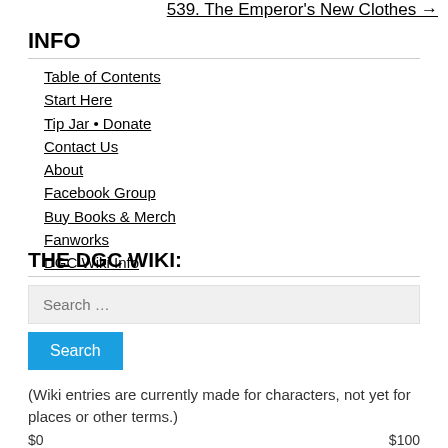539. The Emperor's New Clothes →
INFO
Table of Contents
Start Here
Tip Jar • Donate
Contact Us
About
Facebook Group
Buy Books & Merch
Fanworks
DGC Wiki Info
THE DGC WIKI:
Search …
(Wiki entries are currently made for characters, not yet for places or other terms.)
$0 $100